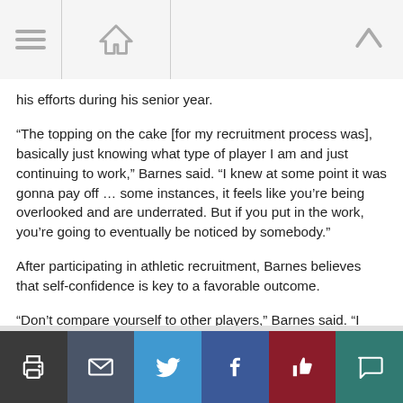[Navigation bar with menu, home, and up icons]
his efforts during his senior year.
“The topping on the cake [for my recruitment process was], basically just knowing what type of player I am and just continuing to work,” Barnes said. “I knew at some point it was gonna pay off … some instances, it feels like you’re being overlooked and are underrated. But if you put in the work, you’re going to eventually be noticed by somebody.”
After participating in athletic recruitment, Barnes believes that self-confidence is key to a favorable outcome.
“Don’t compare yourself to other players,” Barnes said. “I know everybody wants to be that ranked guy, but everybody has their own path. Just be yourself. Just keep working — don’t try to win the race, but run your own race.”
[Share bar: print, email, twitter, facebook, like, comment]